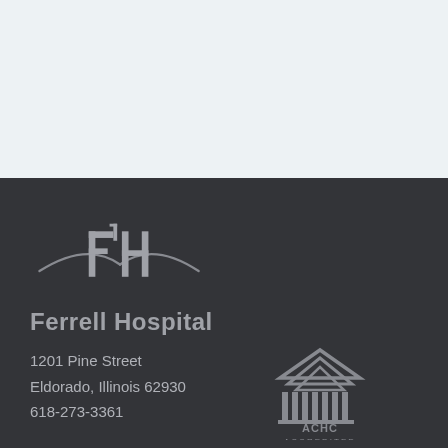[Figure (logo): Ferrell Hospital FH logo with arc and text]
1201 Pine Street
Eldorado, Illinois 62930
618-273-3361
[Figure (logo): ACHC Accredited logo with columned building icon]